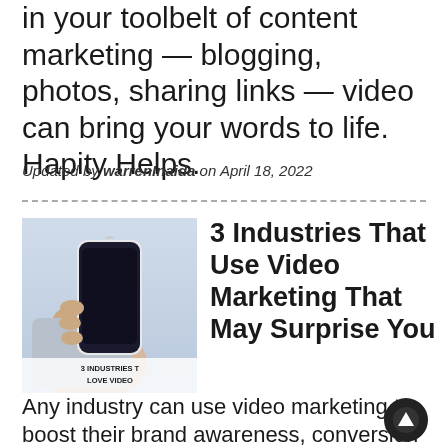in your toolbelt of content marketing — blogging, photos, sharing links — video can bring your words to life. Hapity Helps.
Updated by warrenInaida on April 18, 2022
[Figure (photo): Hand holding a smartphone with a dark screen; text overlay reads '3 INDUSTRIES THAT LOVE VIDEO']
3 Industries That Use Video Marketing That May Surprise You
Any industry can use video marketing to boost their brand awareness, conversion rates, and entertain their consumers. It's a must now, not a frivolity.